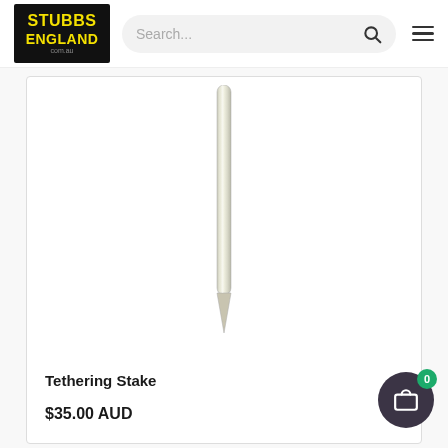[Figure (logo): Stubbs England logo — black rectangle with yellow bold text reading STUBBS on top and ENGLAND below, with a small website URL at bottom]
[Figure (screenshot): Search bar with placeholder text 'Search...' and search icon, on a light grey rounded background]
[Figure (photo): Product photo of a long thin metallic tethering stake/spike, silver-grey in color, photographed vertically on white background]
Tethering Stake
$35.00 AUD